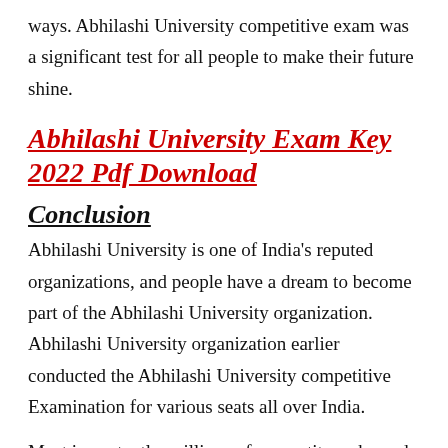ways. Abhilashi University competitive exam was a significant test for all people to make their future shine.
Abhilashi University Exam Key 2022 Pdf Download
Conclusion
Abhilashi University is one of India's reputed organizations, and people have a dream to become part of the Abhilashi University organization. Abhilashi University organization earlier conducted the Abhilashi University competitive Examination for various seats all over India.
Most importantly, millions of competitors showed their performance in the challenging Abhilashi